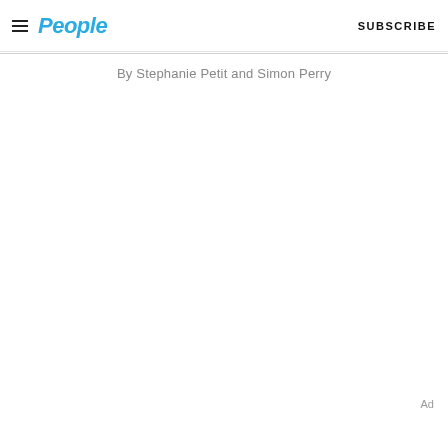People | SUBSCRIBE
By Stephanie Petit and Simon Perry
Ad